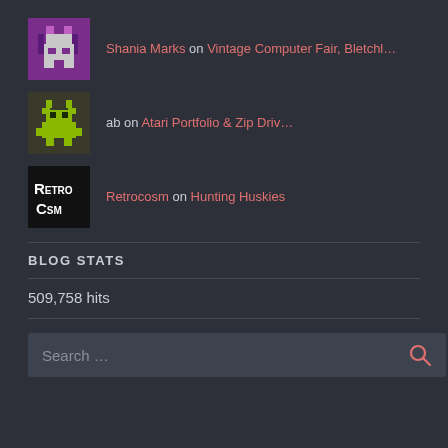Shania Marks on Vintage Computer Fair, Bletchl...
ab on Atari Portfolio & Zip Driv...
Retrocosm on Hunting Huskies
BLOG STATS
509,758 hits
[Figure (other): Search input box with placeholder text 'Search ...' and a search icon]